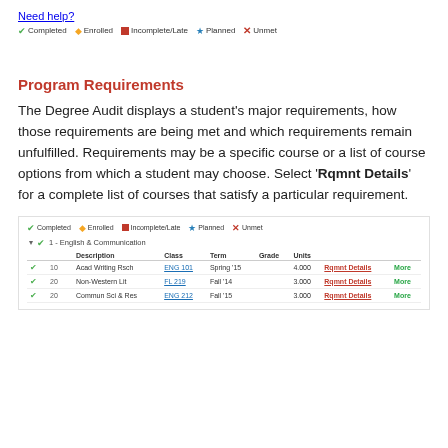Need help?
Completed  Enrolled  Incomplete/Late  Planned  Unmet
Program Requirements
The Degree Audit displays a student's major requirements, how those requirements are being met and which requirements remain unfulfilled. Requirements may be a specific course or a list of course options from which a student may choose. Select 'Rqmnt Details' for a complete list of courses that satisfy a particular requirement.
[Figure (screenshot): Screenshot of degree audit interface showing a legend with Completed, Enrolled, Incomplete/Late, Planned, Unmet icons, then a section '1 - English & Communication' with a table listing courses: 10 Acad Writing Rsch ENG 101 Spring '15 4.000 Rqmnt Details More; 20 Non-Western Lit FL 219 Fall '14 3.000 Rqmnt Details More; 20 Commun Sci & Res ENG 212 Fall '15 3.000 Rqmnt Details More]